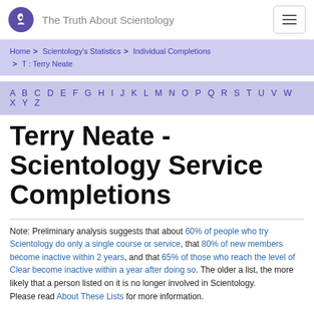The Truth About Scientology
Home > Scientology's Statistics > Individual Completions > T : Terry Neate
A B C D E F G H I J K L M N O P Q R S T U V W X Y Z
Terry Neate - Scientology Service Completions
Note: Preliminary analysis suggests that about 60% of people who try Scientology do only a single course or service, that 80% of new members become inactive within 2 years, and that 65% of those who reach the level of Clear become inactive within a year after doing so. The older a list, the more likely that a person listed on it is no longer involved in Scientology.
Please read About These Lists for more information.